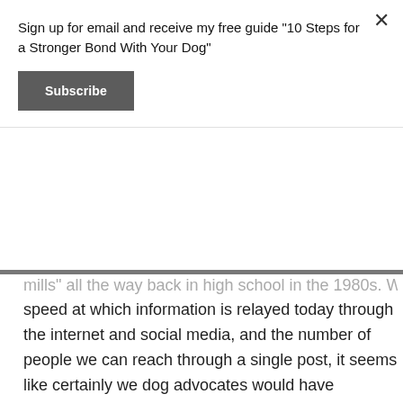Sign up for email and receive my free guide "10 Steps for a Stronger Bond With Your Dog"
Subscribe
mills" all the way back in high school in the 1980s. With the speed at which information is relayed today through the internet and social media, and the number of people we can reach through a single post, it seems like certainly we dog advocates would have successfully gotten the word out about the hell that is commercial dog breeding.
Privacy & Cookies: This site uses cookies. By continuing to use this website, you agree to their use.
To find out more, including how to control cookies, see here: Cookie Policy
Close and accept
demand for a new puppy to be born at a commercial puppy